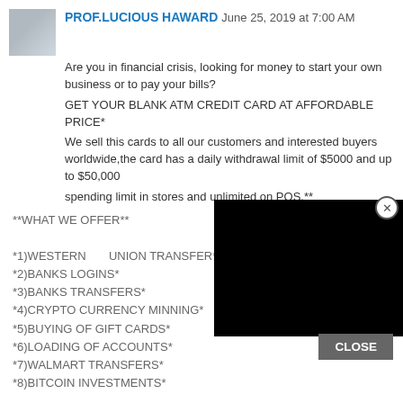PROF.LUCIOUS HAWARD June 25, 2019 at 7:00 AM
Are you in financial crisis, looking for money to start your own business or to pay your bills?
GET YOUR BLANK ATM CREDIT CARD AT AFFORDABLE PRICE*
We sell this cards to all our customers and interested buyers worldwide,the card has a daily withdrawal limit of $5000 and up to $50,000
spending limit in stores and unlimited on POS.**
**WHAT WE OFFER**

*1)WESTERN      UNION TRANSFER*
*2)BANKS LOGINS*
*3)BANKS TRANSFERS*
*4)CRYPTO CURRENCY MINNING*
*5)BUYING OF GIFT CARDS*
*6)LOADING OF ACCOUNTS*
*7)WALMART TRANSFERS*
*8)BITCOIN INVESTMENTS*
[Figure (other): Black overlay rectangle covering part of the page content]
CLOSE